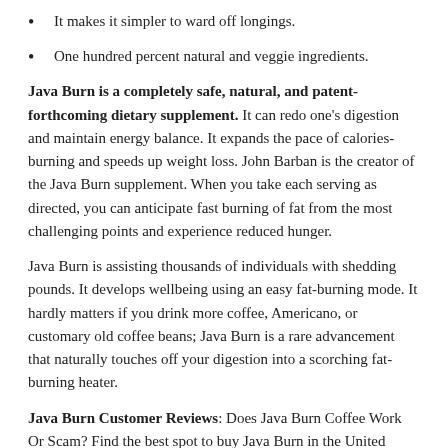It makes it simpler to ward off longings.
One hundred percent natural and veggie ingredients.
Java Burn is a completely safe, natural, and patent-forthcoming dietary supplement. It can redo one's digestion and maintain energy balance. It expands the pace of calories-burning and speeds up weight loss. John Barban is the creator of the Java Burn supplement. When you take each serving as directed, you can anticipate fast burning of fat from the most challenging points and experience reduced hunger.
Java Burn is assisting thousands of individuals with shedding pounds. It develops wellbeing using an easy fat-burning mode. It hardly matters if you drink more coffee, Americano, or customary old coffee beans; Java Burn is a rare advancement that naturally touches off your digestion into a scorching fat-burning heater.
Java Burn Customer Reviews: Does Java Burn Coffee Work Or Scam? Find the best spot to buy Java Burn in the United Kingdom (UK), Java Burn Australia, Java Burn UK Stockists, Java Burn Ireland, Java Burn Netherlands, Java Burn USA (United States), Where to Buy